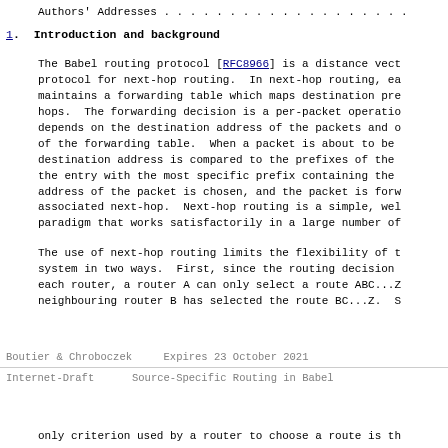Authors' Addresses . . . . . . . . . . . . . . . . . . .
1.  Introduction and background
The Babel routing protocol [RFC8966] is a distance vector protocol for next-hop routing.  In next-hop routing, each router maintains a forwarding table which maps destination prefixes to next-hops.  The forwarding decision is a per-packet operation that depends on the destination address of the packets and on the contents of the forwarding table.  When a packet is about to be forwarded, its destination address is compared to the prefixes of the forwarding table; the entry with the most specific prefix containing the destination address of the packet is chosen, and the packet is forwarded to the associated next-hop.  Next-hop routing is a simple, well-understood paradigm that works satisfactorily in a large number of cases.
The use of next-hop routing limits the flexibility of the routing system in two ways.  First, since the routing decision is made at each router, a router A can only select a route ABC...Z if its neighbouring router B has selected the route BC...Z.  S
Boutier & Chroboczek     Expires 23 October 2021
Internet-Draft       Source-Specific Routing in Babel
only criterion used by a router to choose a route is th